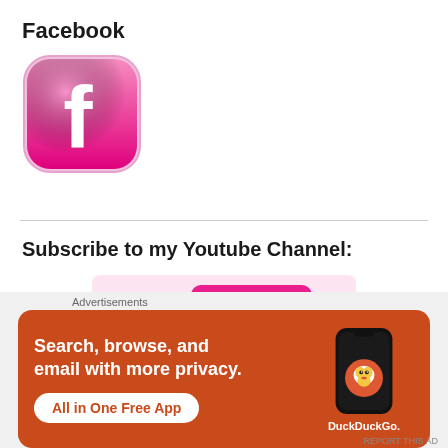Facebook
[Figure (logo): Facebook logo icon — rounded square with hot-pink/magenta gradient background and white lowercase 'f' letter]
Subscribe to my Youtube Channel:
[Figure (logo): YouTube logo — 'You' in black bold text followed by 'Tube' in white bold text inside a hot-pink rounded rectangle, with TM superscript, on a light pink background]
Advertisements
[Figure (infographic): DuckDuckGo advertisement banner on orange/rust background. Text: 'Search, browse, and email with more privacy. All in One Free App'. Shows a smartphone with DuckDuckGo logo and branding.]